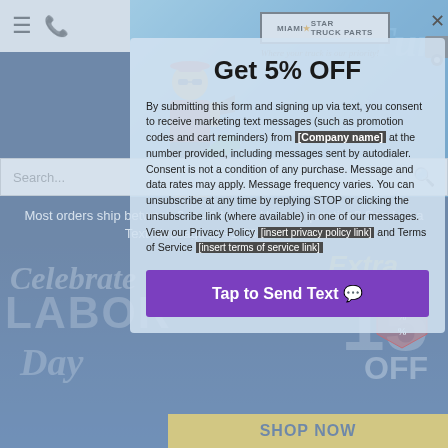[Figure (screenshot): Miami Star Truck Parts website header with logo, navigation icons, hero banner with beach/truck theme, search bar, and Labor Day sale banner in background]
Get 5% OFF
By submitting this form and signing up via text, you consent to receive marketing text messages (such as promotion codes and cart reminders) from [Company name] at the number provided, including messages sent by autodialer. Consent is not a condition of any purchase. Message and data rates may apply. Message frequency varies. You can unsubscribe at any time by replying STOP or clicking the unsubscribe link (where available) in one of our messages. View our Privacy Policy [insert privacy policy link] and Terms of Service [insert terms of service link]
Tap to Send Text 💬
Most orders ship between 2 to 48 hours. Have a question? Send us a Text Message at +1-785-300-5070